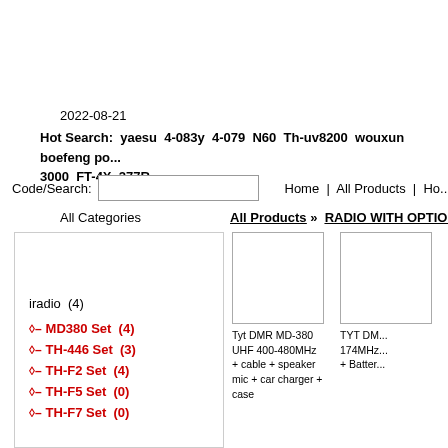2022-08-21
Hot Search:  yaesu  4-083y  4-079  N60  Th-uv8200  wouxun  boefeng po... 3000  FT-4X  277R
Code/Search:
Home  |   All Products  |  Ho...
All Categories
All Products » RADIO WITH OPTION »
iradio  (4)
◇– MD380 Set  (4)
◇– TH-446 Set  (3)
◇– TH-F2 Set  (4)
◇– TH-F5 Set  (0)
◇– TH-F7 Set  (0)
[Figure (other): Product image placeholder for Tyt DMR MD-380]
Tyt DMR MD-380 UHF 400-480MHz + cable + speaker mic + car charger + case
[Figure (other): Product image placeholder for TYT DMR 174MHz]
TYT DM... 174MHz... + Battery...